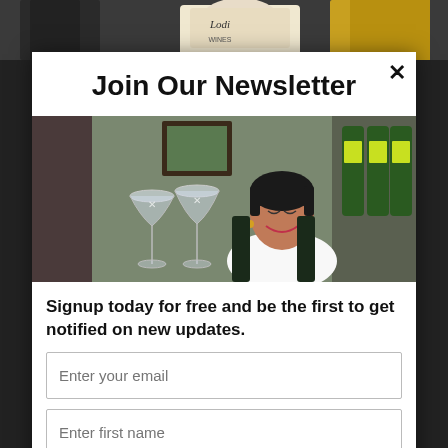[Figure (photo): Background photo of people at a wine event, visible behind the modal popup]
Join Our Newsletter
[Figure (photo): Photo of a smiling woman in a white shirt with wine glasses and bottles in background at a wine shop]
Signup today for free and be the first to get notified on new updates.
Enter your email
Enter first name